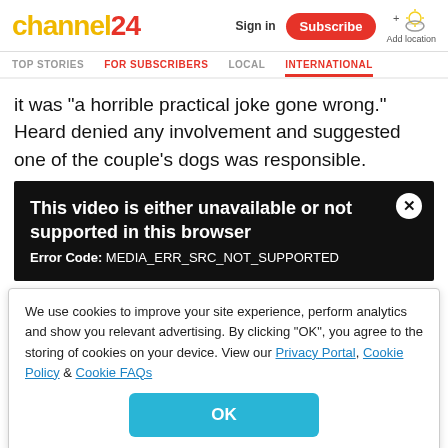channel24 | Sign in | Subscribe | Add location
TOP STORIES  FOR SUBSCRIBERS  LOCAL  INTERNATIONAL
it was "a horrible practical joke gone wrong." Heard denied any involvement and suggested one of the couple's dogs was responsible.
[Figure (screenshot): Video error message on dark background: 'This video is either unavailable or not supported in this browser' with Error Code: MEDIA_ERR_SRC_NOT_SUPPORTED and a close (X) button]
We use cookies to improve your site experience, perform analytics and show you relevant advertising. By clicking "OK", you agree to the storing of cookies on your device. View our Privacy Portal, Cookie Policy & Cookie FAQs
OK